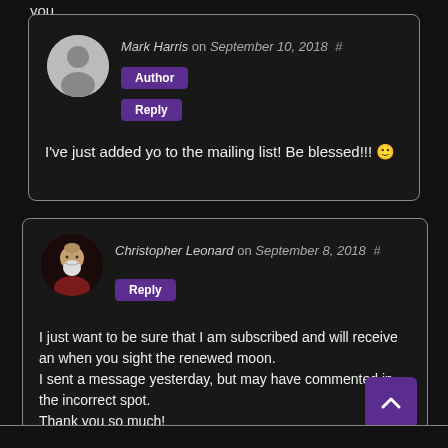you.
Mark Harris on September 10, 2018 #
Author
Reply
I've just added yo to the mailing list! Be blessed!!! 🙂
Christopher Leonard on September 8, 2018 #
Reply
I just want to be sure that I am subscribed and will receive an when you sight the renewed moon.
I sent a message yesterday, but may have commented in the incorrect spot.
Thank you so much!
Blessings and Shalom